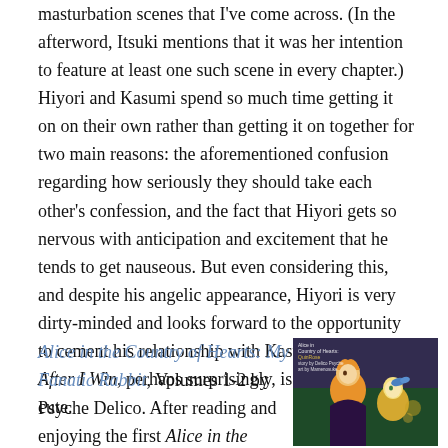masturbation scenes that I've come across. (In the afterword, Itsuki mentions that it was her intention to feature at least one such scene in every chapter.) Hiyori and Kasumi spend so much time getting it on on their own rather than getting it on together for two main reasons: the aforementioned confusion regarding how seriously they should take each other's confession, and the fact that Hiyori gets so nervous with anticipation and excitement that he tends to get nauseous. But even considering this, and despite his angelic appearance, Hiyori is very dirty-minded and looks forward to the opportunity to cement his relationship with Kasumi physically. After I Win, perhaps surprisingly, is actually pretty cute.
Alice in the Country of Hearts: My Fanatic Rabbit, Volumes 1-2 by Psyche Delico. After reading and enjoying the first Alice in the
[Figure (illustration): Book cover of Alice in the Country of Hearts: My Fanatic Rabbit showing anime-style characters on a dark green background]